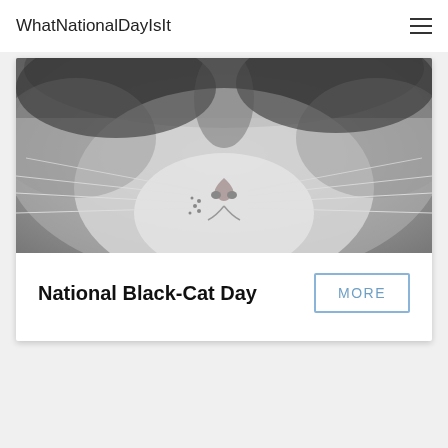WhatNationalDayIsIt
[Figure (photo): Close-up black and white photograph of a cat's face, showing the nose, whiskers, and lower portion of the face in detail.]
National Black-Cat Day
MORE